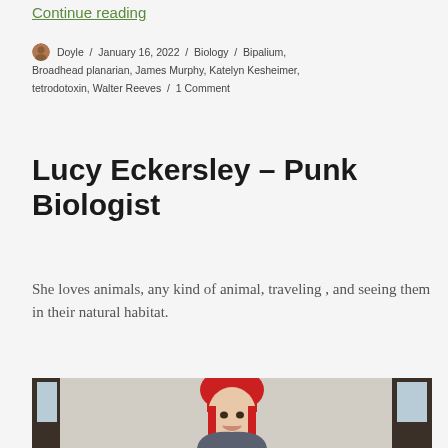Continue reading
Doyle / January 16, 2022 / Biology / Bipalium, Broadhead planarian, James Murphy, Katelyn Kesheimer, tetrodotoxin, Walter Reeves / 1 Comment
Lucy Eckersley – Punk Biologist
She loves animals, any kind of animal, traveling , and seeing them in their natural habitat.
[Figure (photo): A woman with bright red hair and bangs smiling indoors, appearing to be in a building with large windows.]